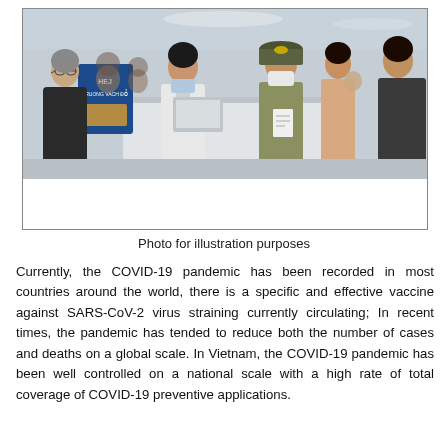[Figure (photo): Airport health screening checkpoint scene. A Vietnamese health officer in white uniform with face mask stands behind a counter. A military officer in olive uniform with peaked cap checks documents. Several travelers including an elderly woman on the left and a man on the right are visible. Blue signage with Vietnamese text 'TRUONG VACH DO' is visible on the left.]
Photo for illustration purposes
Currently, the COVID-19 pandemic has been recorded in most countries around the world, there is a specific and effective vaccine against SARS-CoV-2 virus straining currently circulating; In recent times, the pandemic has tended to reduce both the number of cases and deaths on a global scale. In Vietnam, the COVID-19 pandemic has been well controlled on a national scale with a high rate of total coverage of COVID-19 preventive applications.